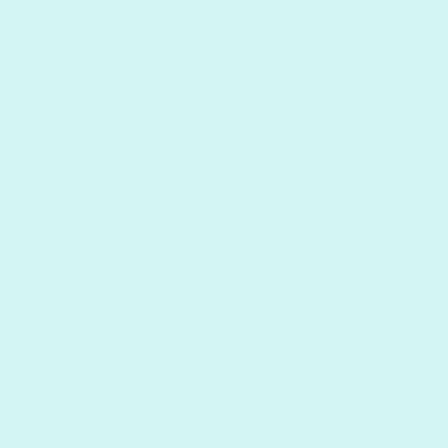Posted by: Sen | Jan 22, 200 at 09: PM
So, the mis link in Su: ride (re a puz wa: the firs est and ...